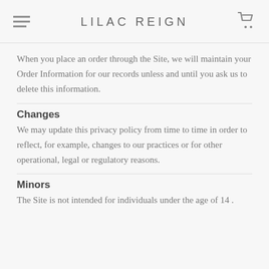LILAC REIGN
When you place an order through the Site, we will maintain your Order Information for our records unless and until you ask us to delete this information.
Changes
We may update this privacy policy from time to time in order to reflect, for example, changes to our practices or for other operational, legal or regulatory reasons.
Minors
The Site is not intended for individuals under the age of 14 .